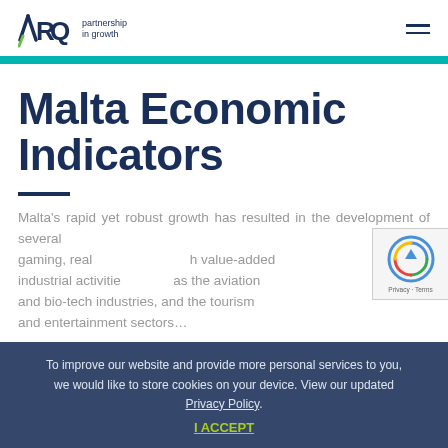ARQ partnership in growth
Malta Economic Indicators
Malta's rapid yet robust growth has resulted in the development of several gaming, real high value-added industrial activities such as the aviation and bio-tech industries, and the tourism and entertainment sectors.
To improve our website and provide more personal services to you, we would like to store cookies on your device. View our updated Privacy Policy. I ACCEPT